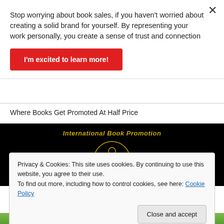Stop worrying about book sales, if you haven't worried about creating a solid brand for yourself. By representing your work personally, you create a sense of trust and connection
I'm excited to learn more!
Where Books Get Promoted At Half Price
[Figure (logo): International Book Promotion logo: gold text 'International Book Promotion' above a golden line-art illustration of a figure reading a book, on a black background]
Privacy & Cookies: This site uses cookies. By continuing to use this website, you agree to their use.
To find out more, including how to control cookies, see here: Cookie Policy
Close and accept